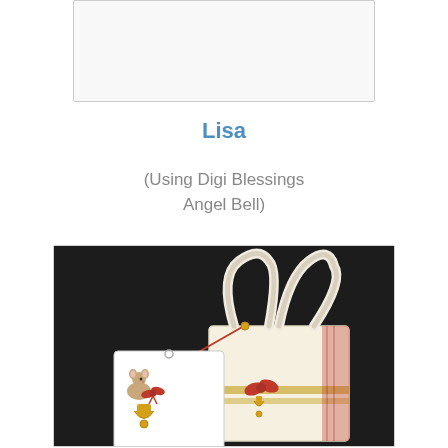[Figure (photo): Partial white/blank image area at top of page]
Lisa
(Using Digi Blessings Angel Bell)
[Figure (photo): Photo of a cream-colored gift bag with a tag attached by red ribbon. The tag and bag feature illustrations of a mouse, golden bells, and red bows. The background is dark/black.]